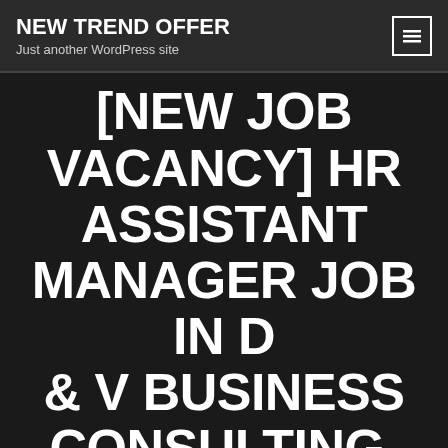NEW TREND OFFER
Just another WordPress site
[NEW JOB VACANCY] HR ASSISTANT MANAGER JOB IN D & V BUSINESS CONSULTING, (AHMEDABAD